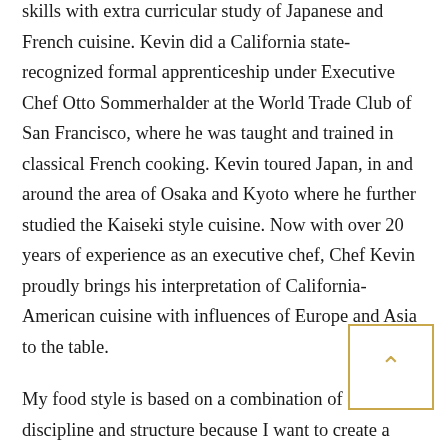skills with extra curricular study of Japanese and French cuisine. Kevin did a California state-recognized formal apprenticeship under Executive Chef Otto Sommerhalder at the World Trade Club of San Francisco, where he was taught and trained in classical French cooking. Kevin toured Japan, in and around the area of Osaka and Kyoto where he further studied the Kaiseki style cuisine. Now with over 20 years of experience as an executive chef, Chef Kevin proudly brings his interpretation of California-American cuisine with influences of Europe and Asia to the table.
My food style is based on a combination of creativity, discipline and structure because I want to create a delicate balance between what I would enjoy and that of our guests. I put a lot of thought into the composition of each dish starting with the ingredients, the aroma, the taste, and then I put a creative twist into the presentation. I am constantly